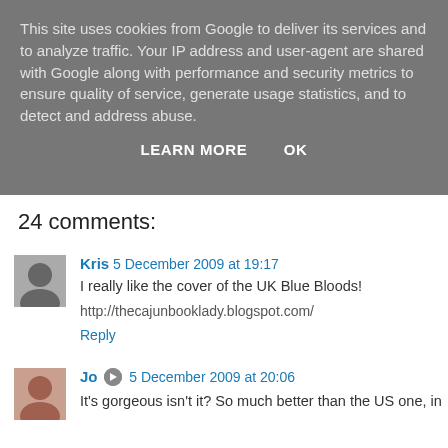This site uses cookies from Google to deliver its services and to analyze traffic. Your IP address and user-agent are shared with Google along with performance and security metrics to ensure quality of service, generate usage statistics, and to detect and address abuse.
LEARN MORE   OK
24 comments:
Kris  5 December 2009 at 19:17
I really like the cover of the UK Blue Bloods!

http://thecajunbooklady.blogspot.com/
Reply
Jo  5 December 2009 at 20:06
It's gorgeous isn't it? So much better than the US one, in